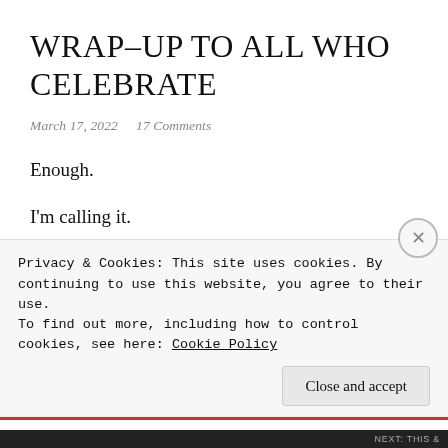WRAP-UP TO ALL WHO CELEBRATE
March 17, 2022   17 Comments
Enough.
I'm calling it.
Winter needs to end right now, immediately, or possibly yesterday, and if it keeps going I am going to lose my mind and do something drastic, such as
Privacy & Cookies: This site uses cookies. By continuing to use this website, you agree to their use.
To find out more, including how to control cookies, see here: Cookie Policy
Close and accept